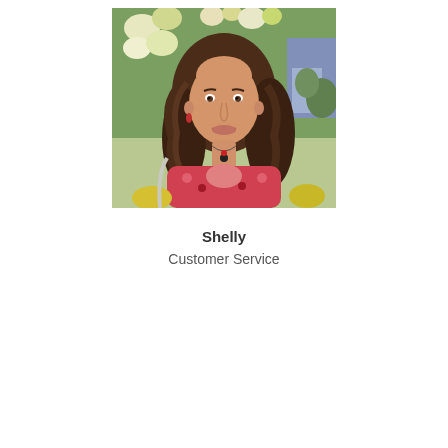[Figure (photo): Portrait photo of a woman with long curly brown hair, wearing a red floral sleeveless top and a necklace with a dark pendant, smiling, with flowers and a floral shop background.]
Shelly
Customer Service